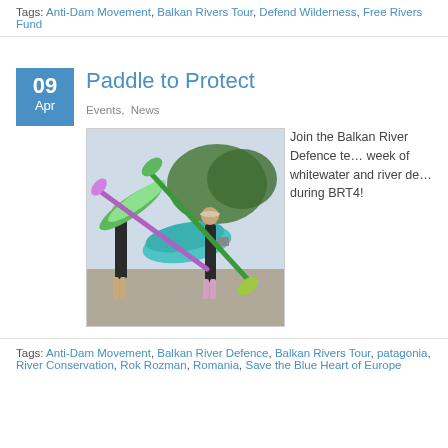Tags: Anti-Dam Movement, Balkan Rivers Tour, Defend Wilderness, Free Rivers Fund
Paddle to Protect
Events, News
[Figure (photo): Two women carrying colorful kayaks through a street with trees in background]
Join the Balkan River Defence team for a week of whitewater and river defence during BRT4!
Tags: Anti-Dam Movement, Balkan River Defence, Balkan Rivers Tour, patagonia, River Conservation, Rok Rozman, Romania, Save the Blue Heart of Europe